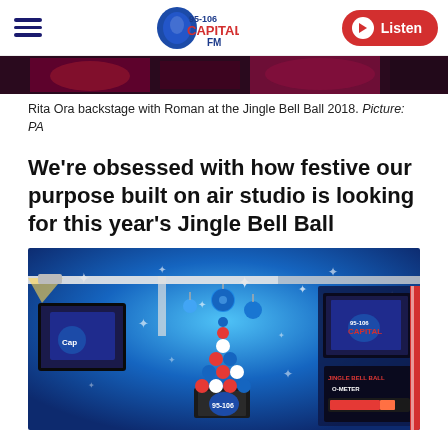Capital FM 95-106 | Listen
[Figure (photo): Partial photo of Rita Ora backstage with Roman at the Jingle Bell Ball 2018, cropped at the top]
Rita Ora backstage with Roman at the Jingle Bell Ball 2018. Picture: PA
We're obsessed with how festive our purpose built on air studio is looking for this year's Jingle Bell Ball
[Figure (photo): Festive on-air studio decorated with blue sparkly walls, Christmas baubles, a Christmas tree made of baubles, and Capital/Jingle Bell Ball branding]